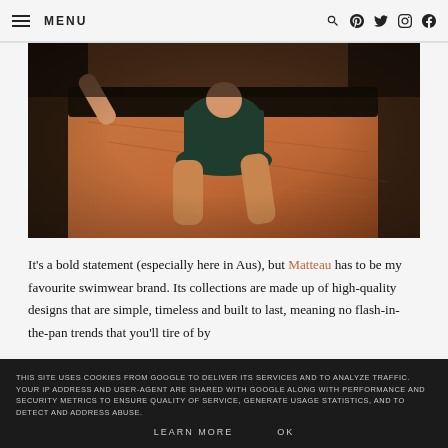MENU
[Figure (photo): A woman lying on an orange/terracotta surface wearing a dark green one-piece swimsuit. The image is cropped showing the torso and legs.]
It's a bold statement (especially here in Aus), but Matteau has to be my favourite swimwear brand. Its collections are made up of high-quality designs that are simple, timeless and built to last, meaning no flash-in-the-pan trends that you'll tire of by
THIS SITE USES COOKIES FROM GOOGLE TO DELIVER ITS SERVICES AND TO ANALYZE TRAFFIC. YOUR IP ADDRESS AND USER-AGENT ARE SHARED WITH GOOGLE ALONG WITH PERFORMANCE AND SECURITY METRICS TO ENSURE QUALITY OF SERVICE, GENERATE USAGE STATISTICS, AND TO DETECT AND ADDRESS ABUSE.
LEARN MORE   OK